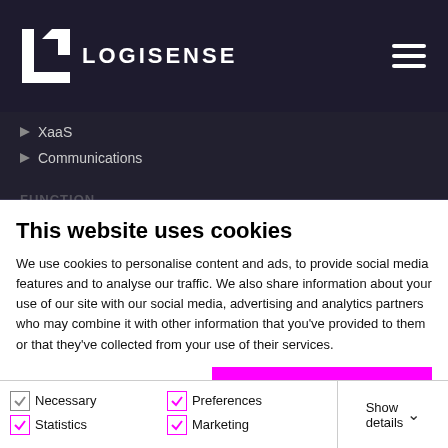LOGISENSE
XaaS
Communications
This website uses cookies
We use cookies to personalise content and ads, to provide social media features and to analyse our traffic. We also share information about your use of our site with our social media, advertising and analytics partners who may combine it with other information that you've provided to them or that they've collected from your use of their services.
Allow all cookies
Allow selection
Use necessary cookies only
Necessary  Preferences  Statistics  Marketing  Show details